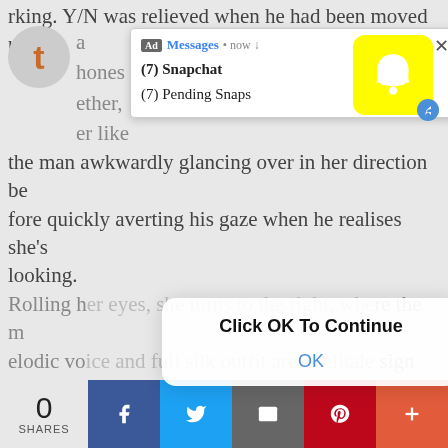rking. Y/N was relieved when he had been moved up hones ether, er like the man awkwardly glancing over in her direction before quickly averting his gaze when he realises she's looking.
[Figure (screenshot): Ad notification popup: Messages now - (7) Snapchat, (7) Pending Snaps with Snapchat yellow ghost icon]
Rolling her eyes, she turns to the right, where the melodic voice and full silk outfit are a telltale sign that one of the group members Harry, facing away from her and chatting with the group in front of him, his broad shoulders slimming down into his narrow waist accentuated by the high waisted pants he was sporting.
[Figure (screenshot): Dialog box: Click OK To Continue, with OK button]
0 SHARES [Facebook] [Twitter] [Email] [Pinterest] [More]